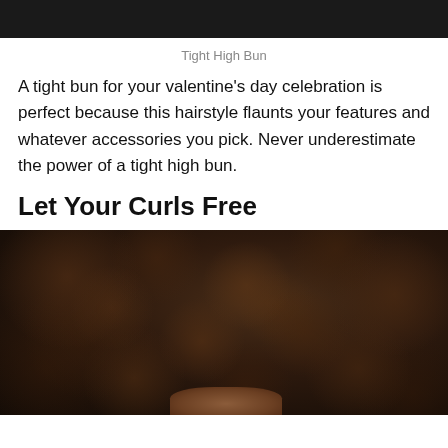[Figure (photo): Top portion of a photo showing dark hair against a dark background (tight high bun hairstyle, partially cropped)]
Tight High Bun
A tight bun for your valentine’s day celebration is perfect because this hairstyle flaunts your features and whatever accessories you pick. Never underestimate the power of a tight high bun.
Let Your Curls Free
[Figure (photo): Close-up photo of a person with voluminous, curly afro hair. The dark brown curls fill most of the frame, with a small portion of the person's forehead and ear visible at the bottom.]